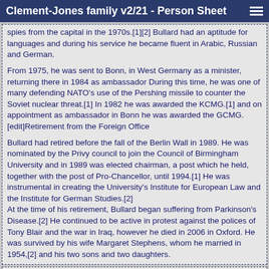Clement-Jones family v2/21 - Person Sheet
spies from the capital in the 1970s.[1][2] Bullard had an aptitude for languages and during his service he became fluent in Arabic, Russian and German.

From 1975, he was sent to Bonn, in West Germany as a minister, returning there in 1984 as ambassador During this time, he was one of many defending NATO's use of the Pershing missile to counter the Soviet nuclear threat.[1] In 1982 he was awarded the KCMG.[1] and on appointment as ambassador in Bonn he was awarded the GCMG. [edit]Retirement from the Foreign Office

Bullard had retired before the fall of the Berlin Wall in 1989. He was nominated by the Privy council to join the Council of Birmingham University and in 1989 was elected chairman, a post which he held, together with the post of Pro-Chancellor, until 1994.[1] He was instrumental in creating the University's Institute for European Law and the Institute for German Studies.[2]
At the time of his retirement, Bullard began suffering from Parkinson's Disease.[2] He continued to be active in protest against the polices of Tony Blair and the war in Iraq, however he died in 2006 in Oxford. He was survived by his wife Margaret Stephens, whom he married in 1954,[2] and his two sons and two daughters.
Last Modified 29 Jul 2012    Created 11 Dec 2021 using Reunion for Macintosh